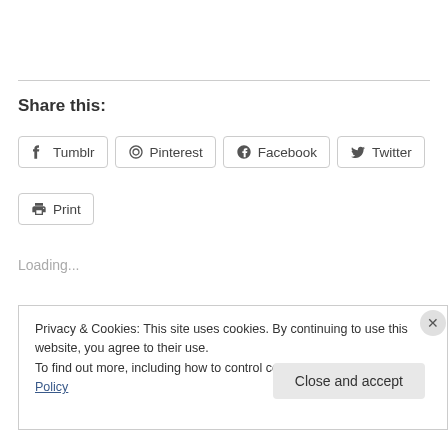Share this:
Tumblr
Pinterest
Facebook
Twitter
Print
Loading...
Privacy & Cookies: This site uses cookies. By continuing to use this website, you agree to their use.
To find out more, including how to control cookies, see here: Cookie Policy
Close and accept